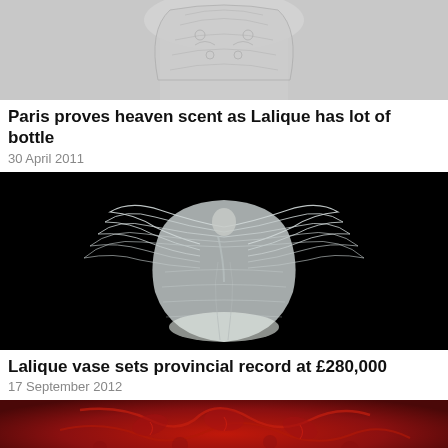[Figure (photo): Top portion of an engraved crystal glass or vase with decorative floral/scroll patterns, light grey background]
Paris proves heaven scent as Lalique has lot of bottle
30 April 2011
[Figure (photo): Lalique crystal vase with winged angel/figure motif in frosted glass against a black background]
Lalique vase sets provincial record at £280,000
17 September 2012
[Figure (photo): Close-up of a deep red/ruby colored Lalique glass piece with decorative relief patterns]